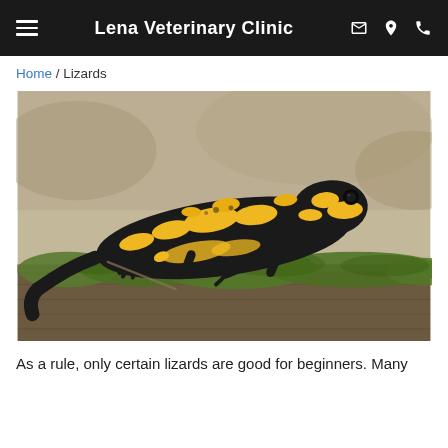Lena Veterinary Clinic
Home / Lizards
[Figure (photo): A fire salamander (black with yellow markings) resting on green moss atop a weathered wooden log.]
As a rule, only certain lizards are good for beginners. Many